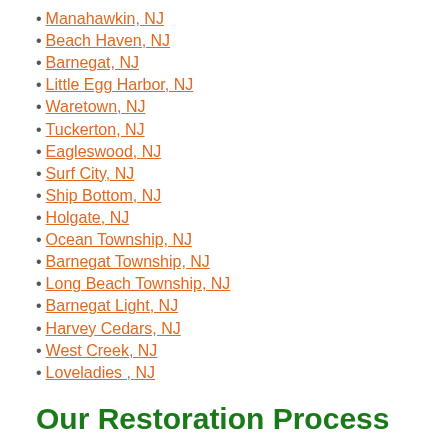Manahawkin, NJ
Beach Haven, NJ
Barnegat, NJ
Little Egg Harbor, NJ
Waretown, NJ
Tuckerton, NJ
Eagleswood, NJ
Surf City, NJ
Ship Bottom, NJ
Holgate, NJ
Ocean Township, NJ
Barnegat Township, NJ
Long Beach Township, NJ
Barnegat Light, NJ
Harvey Cedars, NJ
West Creek, NJ
Loveladies , NJ
Our Restoration Process
Every water damage event is a little different and requires a unique solution, but the general process stays the same. The steps listed below will illustrate our process for the typical disaster.